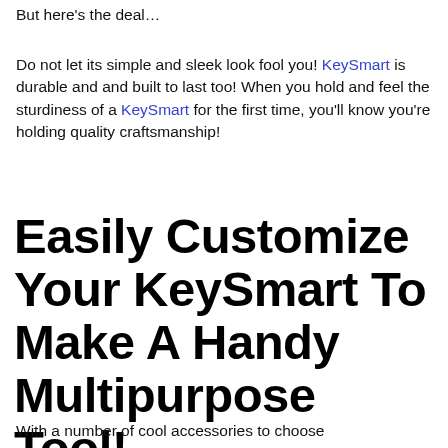But here's the deal…
Do not let its simple and sleek look fool you! KeySmart is durable and and built to last too! When you hold and feel the sturdiness of a KeySmart for the first time, you'll know you're holding quality craftsmanship!
Easily Customize Your KeySmart To Make A Handy Multipurpose Tool!
With a number of cool accessories to choose